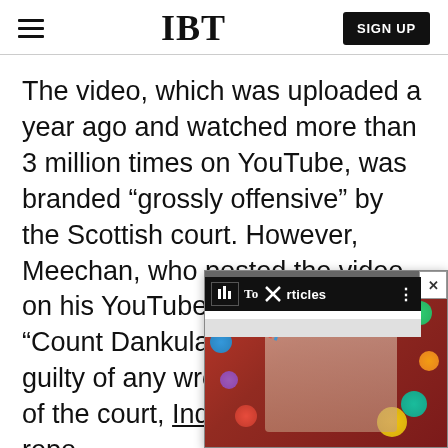IBT
The video, which was uploaded a year ago and watched more than 3 million times on YouTube, was branded “grossly offensive” by the Scottish court. However, Meechan, who posted the video on his YouTube channel called “Count Dankula” denied being guilty of any wrongdoing in front of the court, Independent repo...
[Figure (screenshot): A video popup overlay in the bottom-right showing a David Bowie-like image with a 'Top Articles' bar and IBT logo, with a close button marked X and progress bar.]